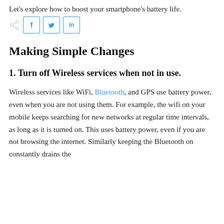Let's explore how to boost your smartphone's battery life.
[Figure (other): Share bar with share icon and social media buttons for Facebook (f), Twitter (bird), and LinkedIn (in)]
Making Simple Changes
1. Turn off Wireless services when not in use.
Wireless services like WiFi, Bluetooth, and GPS use battery power, even when you are not using them. For example, the wifi on your mobile keeps searching for new networks at regular time intervals, as long as it is turned on. This uses battery power, even if you are not browsing the internet. Similarly keeping the Bluetooth on constantly drains the